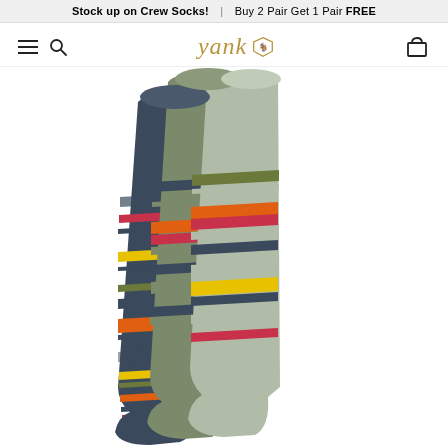Stock up on Crew Socks! | Buy 2 Pair Get 1 Pair FREE
[Figure (logo): Yank brand logo with italic script text 'yank' and a triangular shield icon in gold]
[Figure (photo): Three colorful striped knee-high socks fanned out, featuring dark navy, sage green, and light gray colors with horizontal stripes in orange, pink, yellow, olive, and navy]